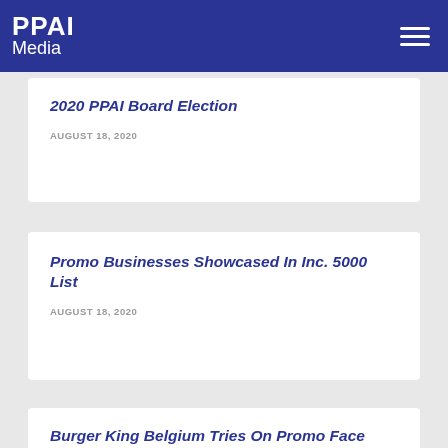PPAI Media
2020 PPAI Board Election
AUGUST 18, 2020
Promo Businesses Showcased In Inc. 5000 List
AUGUST 18, 2020
Burger King Belgium Tries On Promo Face Masks
AUGUST 18, 2020